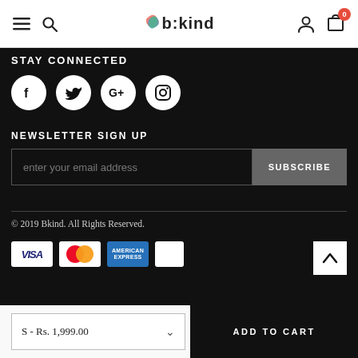b:kind navigation bar with hamburger menu, search, logo, user icon, and cart with 0 items
STAY CONNECTED
[Figure (illustration): Four white circular social media icons: Facebook, Twitter, Google+, Instagram on dark background]
NEWSLETTER SIGN UP
enter your email address
SUBSCRIBE
© 2019 Bkind. All Rights Reserved.
[Figure (logo): Payment method logos: VISA, MasterCard, American Express, and one unidentified card]
S - Rs. 1,999.00
ADD TO CART